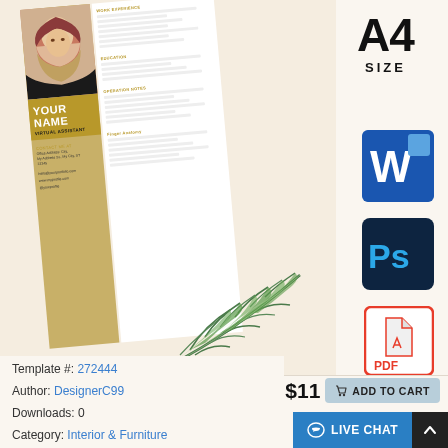[Figure (illustration): Resume template mockup showing a woman in a hijab, with gold/beige color scheme and 'YOUR NAME / VIRTUAL ASSISTANT' text. Contact info section visible. Decorative palm leaf at bottom. Format icons shown: A4, Word, Photoshop, PDF.]
A4
SIZE
$13 $11  ADD TO CART
Template #: 272444
Author: DesignerC99
Downloads: 0
Category: Interior & Furniture